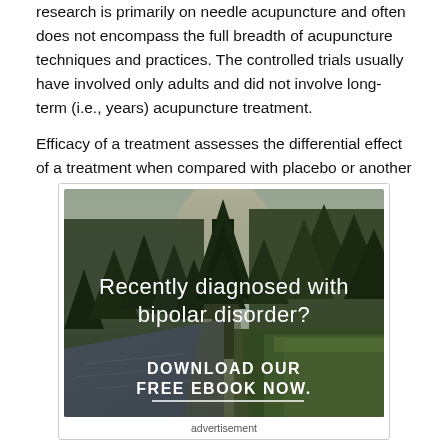research is primarily on needle acupuncture and often does not encompass the full breadth of acupuncture techniques and practices. The controlled trials usually have involved only adults and did not involve long-term (i.e., years) acupuncture treatment.
Efficacy of a treatment assesses the differential effect of a treatment when compared with placebo or another
[Figure (photo): Advertisement image showing a forest scene with a river and trees. Text overlay reads 'Recently diagnosed with bipolar disorder?' and 'DOWNLOAD OUR FREE EBOOK NOW.' with a horizontal line beneath.]
advertisement